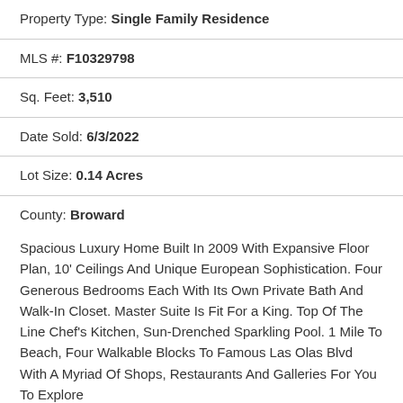Property Type: Single Family Residence
MLS #: F10329798
Sq. Feet: 3,510
Date Sold: 6/3/2022
Lot Size: 0.14 Acres
County: Broward
Spacious Luxury Home Built In 2009 With Expansive Floor Plan, 10' Ceilings And Unique European Sophistication. Four Generous Bedrooms Each With Its Own Private Bath And Walk-In Closet. Master Suite Is Fit For a King. Top Of The Line Chef's Kitchen, Sun-Drenched Sparkling Pool. 1 Mile To Beach, Four Walkable Blocks To Famous Las Olas Blvd With A Myriad Of Shops, Restaurants And Galleries For You To Explore